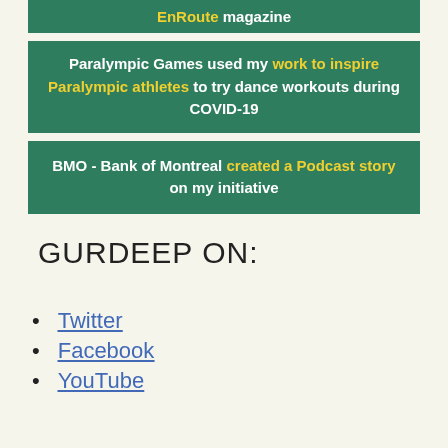EnRoute magazine
Paralympic Games used my work to inspire Paralympic athletes to try dance workouts during COVID-19
BMO - Bank of Montreal created a Podcast story on my initiative
GURDEEP ON:
Twitter
Facebook
YouTube